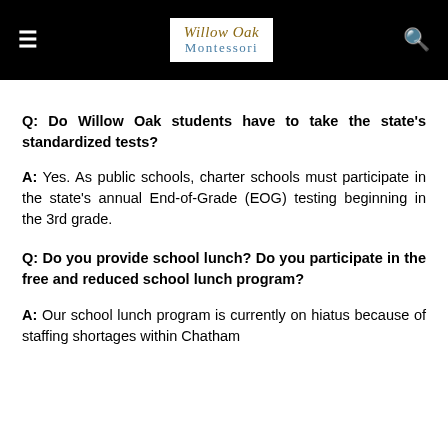Willow Oak Montessori
Q: Do Willow Oak students have to take the state's standardized tests?
A: Yes. As public schools, charter schools must participate in the state's annual End-of-Grade (EOG) testing beginning in the 3rd grade.
Q: Do you provide school lunch? Do you participate in the free and reduced school lunch program?
A: Our school lunch program is currently on hiatus because of staffing shortages within Chatham